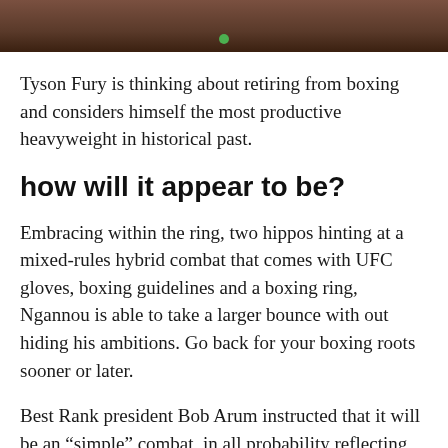[Figure (photo): Cropped photo showing the torso/body of a person, likely a boxer or fighter, with a small green dot visible]
Tyson Fury is thinking about retiring from boxing and considers himself the most productive heavyweight in historical past.
how will it appear to be?
Embracing within the ring, two hippos hinting at a mixed-rules hybrid combat that comes with UFC gloves, boxing guidelines and a boxing ring, Ngannou is able to take a larger bounce with out hiding his ambitions. Go back for your boxing roots sooner or later.
Best Rank president Bob Arum instructed that it will be an “simple” combat, in all probability reflecting why cross-competition has develop in this type of pattern given the overall coverage of mixing boxing and the UFC’s best opponents.